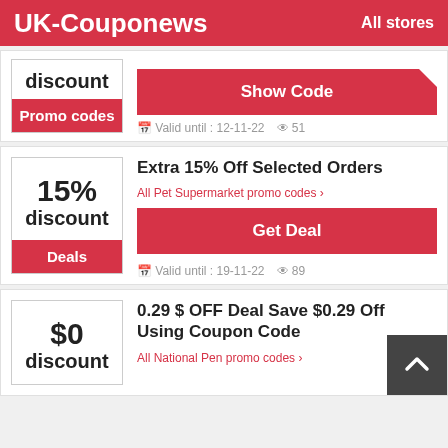UK-Couponews   All stores
discount
Promo codes
Show Code
Valid until : 12-11-22   51
Extra 15% Off Selected Orders
15% discount
Deals
All Pet Supermarket promo codes >
Get Deal
Valid until : 19-11-22   89
0.29 $ OFF Deal Save $0.29 Off Using Coupon Code
$0 discount
All National Pen promo codes >